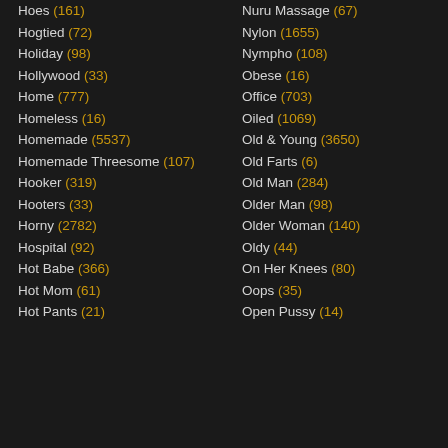Hoes (161)
Hogtied (72)
Holiday (98)
Hollywood (33)
Home (777)
Homeless (16)
Homemade (5537)
Homemade Threesome (107)
Hooker (319)
Hooters (33)
Horny (2782)
Hospital (92)
Hot Babe (366)
Hot Mom (61)
Hot Pants (21)
Nuru Massage (67)
Nylon (1655)
Nympho (108)
Obese (16)
Office (703)
Oiled (1069)
Old & Young (3650)
Old Farts (6)
Old Man (284)
Older Man (98)
Older Woman (140)
Oldy (44)
On Her Knees (80)
Oops (35)
Open Pussy (14)